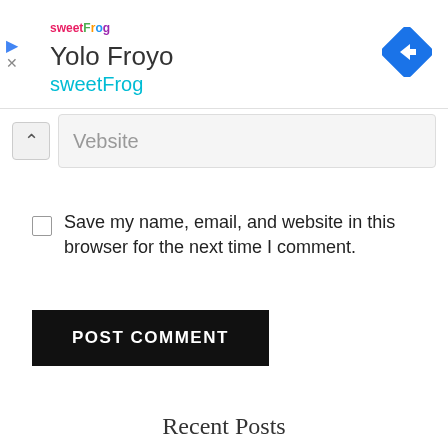[Figure (screenshot): sweetFrog frozen yogurt brand advertisement banner with logo, title 'Yolo Froyo', subtitle 'sweetFrog', navigation arrow icon on right, and play/close icons on left]
Website
Save my name, email, and website in this browser for the next time I comment.
POST COMMENT
Recent Posts